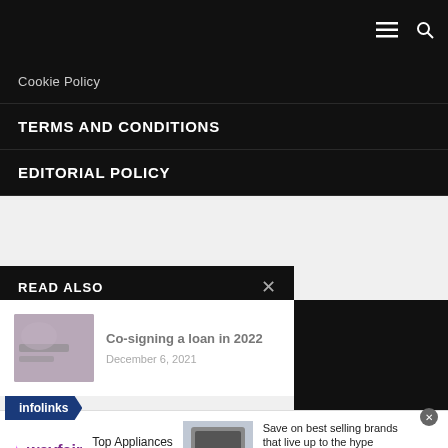≡ 🔍
Cookie Policy
TERMS AND CONDITIONS
EDITORIAL POLICY
READ ALSO
[Figure (photo): Hands signing a loan document]
Co-signing a loan in 2022
December 6, 2021
[Figure (logo): infolinks logo badge]
[Figure (infographic): Wayfair advertisement - Top Appliances Low Prices. Save on best selling brands that live up to the hype. Shop now button.]